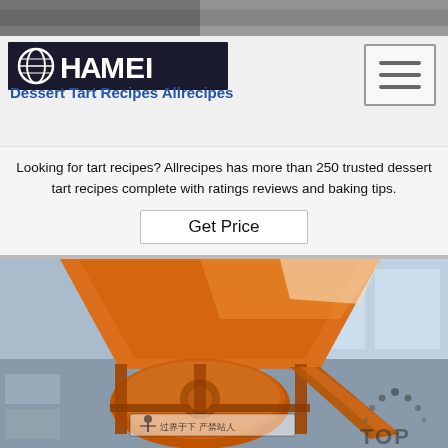[Figure (photo): Top strip photo showing a dark industrial/construction scene]
[Figure (logo): Haomei logo with globe icon and white bold text on gray header background]
Dessert Tart Recipes Allrecipes
Looking for tart recipes? Allrecipes has more than 250 trusted dessert tart recipes complete with ratings reviews and baking tips.
[Figure (other): Get Price button with border]
[Figure (photo): Large orange industrial concrete mixer machine photographed in a factory setting, with Chinese watermark text overlay and TOP watermark in bottom right]